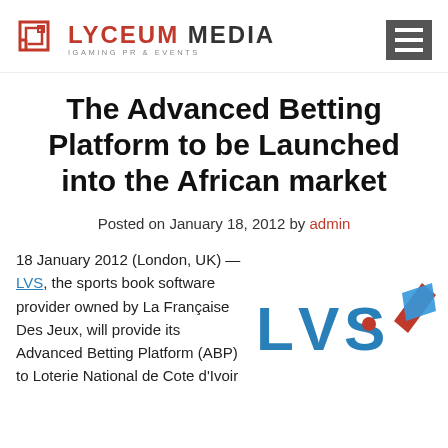LYCEUM MEDIA — IGAMING PR & EVENTS
The Advanced Betting Platform to be Launched into the African market
Posted on January 18, 2012 by admin
18 January 2012 (London, UK) — LVS, the sports book software provider owned by La Française Des Jeux, will provide its Advanced Betting Platform (ABP) to Loterie National de Cote d'Ivoir
[Figure (logo): LVS logo in blue/red and a blue diamond-shaped logo side by side]